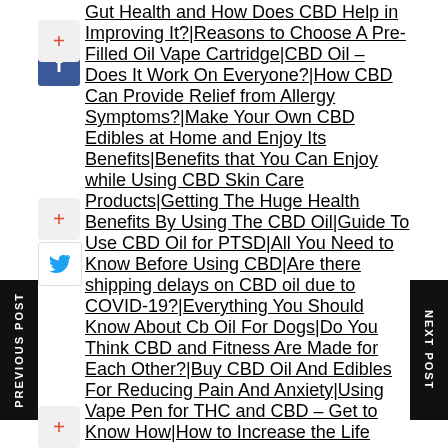Gut Health and How Does CBD Help in Improving It?|Reasons to Choose A Pre-Filled Oil Vape Cartridge|CBD Oil – Does It Work On Everyone?|How CBD Can Provide Relief from Allergy Symptoms?|Make Your Own CBD Edibles at Home and Enjoy Its Benefits|Benefits that You Can Enjoy while Using CBD Skin Care Products|Getting The Huge Health Benefits By Using The CBD Oil|Guide To Use CBD Oil for PTSD|All You Need to Know Before Using CBD|Are there shipping delays on CBD oil due to COVID-19?|Everything You Should Know About Cbd Oil For Dogs|Do You Think CBD and Fitness Are Made for Each Other?|Buy CBD Oil And Edibles For Reducing Pain And Anxiety|Using Vape Pen for THC and CBD – Get to Know How|How to Increase the Life